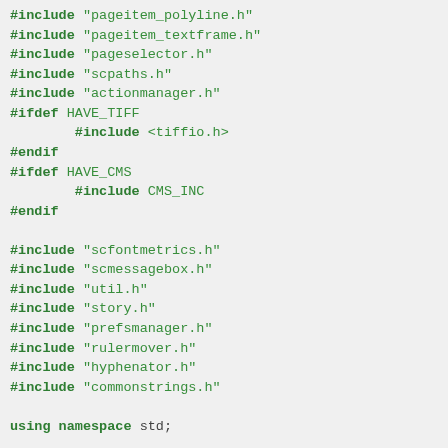#include "pageitem_polyline.h"
#include "pageitem_textframe.h"
#include "pageselector.h"
#include "scpaths.h"
#include "actionmanager.h"
#ifdef HAVE_TIFF
        #include <tiffio.h>
#endif
#ifdef HAVE_CMS
        #include CMS_INC
#endif

#include "scfontmetrics.h"
#include "scmessagebox.h"
#include "util.h"
#include "story.h"
#include "prefsmanager.h"
#include "rulermover.h"
#include "hyphenator.h"
#include "commonstrings.h"

using namespace std;



Scribus View::ScribusView(QWidget *parent,
Scribus Doc *doc) :